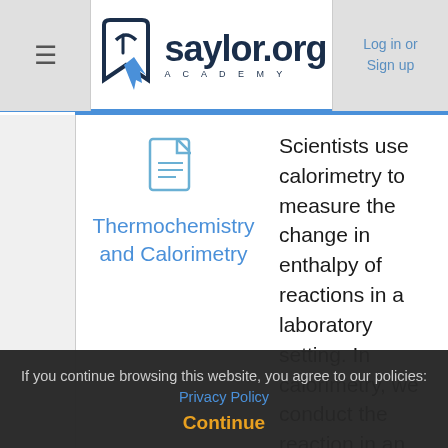saylor.org Academy — Log in or Sign up
[Figure (illustration): Document/page icon in blue outline style]
Thermochemistry and Calorimetry
Scientists use calorimetry to measure the change in enthalpy of reactions in a laboratory setting. In calorimetry, we conduct the reaction in an isolated setting and measure the temperature change. We can use a equation q = msΔT—
If you continue browsing this website, you agree to our policies: Privacy Policy
Continue